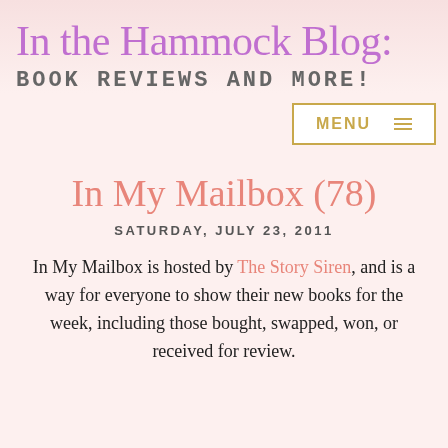In the Hammock Blog:
BOOK REVIEWS AND MORE!
MENU ☰
In My Mailbox (78)
SATURDAY, JULY 23, 2011
In My Mailbox is hosted by The Story Siren, and is a way for everyone to show their new books for the week, including those bought, swapped, won, or received for review.